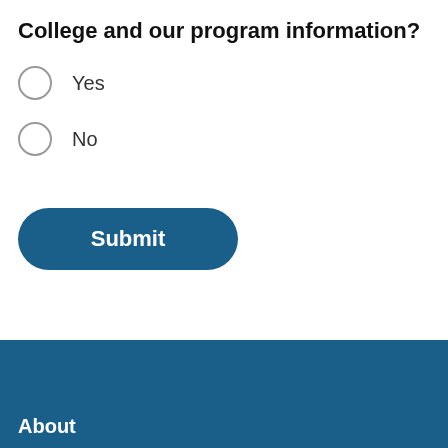College and our program information?
Yes
No
[Figure (other): Submit button - rounded blue pill-shaped button with white bold text 'Submit']
About